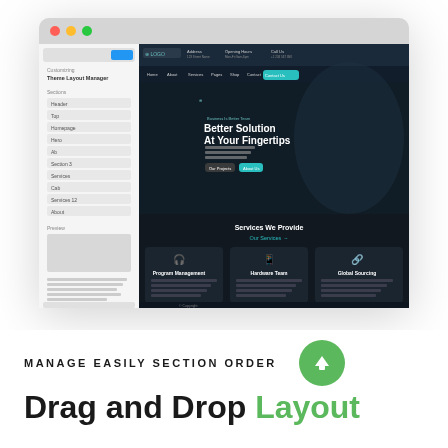[Figure (screenshot): Screenshot of a website Theme Layout Manager interface showing a dark-themed website with 'Better Solution At Your Fingertips' hero text, navigation bar, services section with 'Services We Provide' and three service cards for Program Management, Hardware Team, and Global Sourcing. Left panel shows Theme Layout Manager with a list of layout sections and a Preview area.]
MANAGE EASILY SECTION ORDER
Drag and Drop Layout